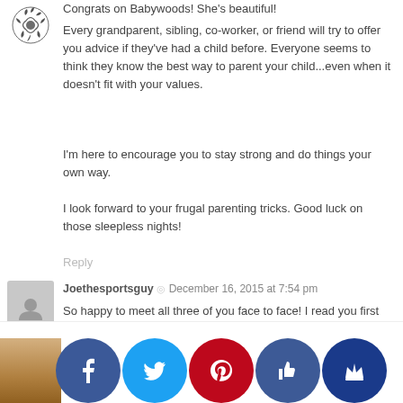[Figure (illustration): Decorative floral/vine avatar icon in dark ink, top left corner]
Congrats on Babywoods! She's beautiful!
Every grandparent, sibling, co-worker, or friend will try to offer you advice if they've had a child before. Everyone seems to think they know the best way to parent your child...even when it doesn't fit with your values.
I'm here to encourage you to stay strong and do things your own way.
I look forward to your frugal parenting tricks. Good luck on those sleepless nights!
Reply
[Figure (illustration): Generic grey avatar silhouette placeholder for Joethesportsguy]
Joethesportsguy  ◎  December 16, 2015 at 7:54 pm
So happy to meet all three of you face to face! I read you first thing every morning. Archives, guests and new wisdom.Just want to thank you for some practical , substantive meat that has changed my journey to my own homestead drastically!
Reply
El...  December...2015 at...
Shares
[Figure (photo): Partial photo of person, bottom left corner]
[Figure (infographic): Social sharing icons: Facebook (blue), Twitter (light blue), Pinterest (red), thumbs-up (dark blue), crown (dark blue)]